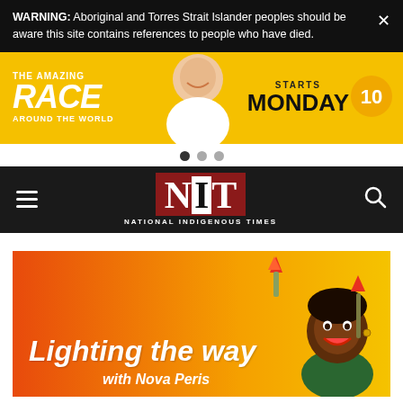WARNING: Aboriginal and Torres Strait Islander peoples should be aware this site contains references to people who have died.
[Figure (infographic): The Amazing Race Around The World advertisement banner — yellow background, show starts Monday on Channel 10]
[Figure (logo): National Indigenous Times (NIT) logo — dark red/maroon background, white N and T with black I on white block, subtitle NATIONAL INDIGENOUS TIMES]
[Figure (infographic): Lighting the way with Nova Peris — orange to yellow gradient banner with illustrated caricature of Nova Peris holding a torch]